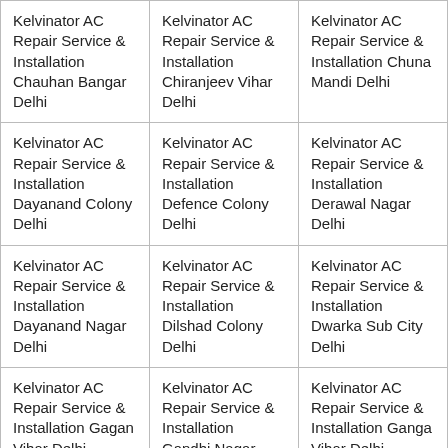| Kelvinator AC Repair Service & Installation Chauhan Bangar Delhi | Kelvinator AC Repair Service & Installation Chiranjeev Vihar Delhi | Kelvinator AC Repair Service & Installation Chuna Mandi Delhi |
| Kelvinator AC Repair Service & Installation Dayanand Colony Delhi | Kelvinator AC Repair Service & Installation Defence Colony Delhi | Kelvinator AC Repair Service & Installation Derawal Nagar Delhi |
| Kelvinator AC Repair Service & Installation Dayanand Nagar Delhi | Kelvinator AC Repair Service & Installation Dilshad Colony Delhi | Kelvinator AC Repair Service & Installation Dwarka Sub City Delhi |
| Kelvinator AC Repair Service & Installation Gagan Vihar Delhi | Kelvinator AC Repair Service & Installation Gandhi Nagar Delhi | Kelvinator AC Repair Service & Installation Ganga Vihar Delhi |
| Kelvinator AC | Kelvinator AC | Kelvinator AC |